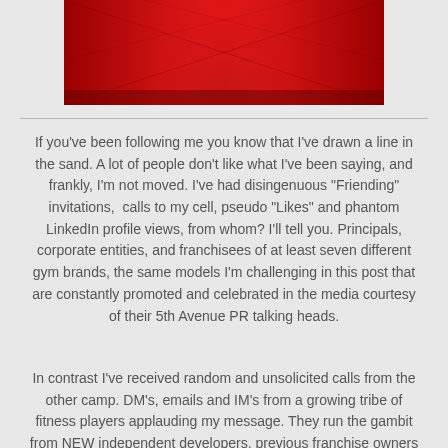[Figure (illustration): Red gradient decorative banner image with diagonal lines and dark red tones]
If you've been following me you know that I've drawn a line in the sand. A lot of people don't like what I've been saying, and frankly, I'm not moved. I've had disingenuous "Friending" invitations,  calls to my cell, pseudo "Likes" and phantom LinkedIn profile views, from whom? I'll tell you. Principals, corporate entities, and franchisees of at least seven different gym brands, the same models I'm challenging in this post that are constantly promoted and celebrated in the media courtesy of their 5th Avenue PR talking heads.
In contrast I've received random and unsolicited calls from the other camp. DM's, emails and IM's from a growing tribe of fitness players applauding my message. They run the gambit from NEW independent developers, previous franchise owners (YES), gym